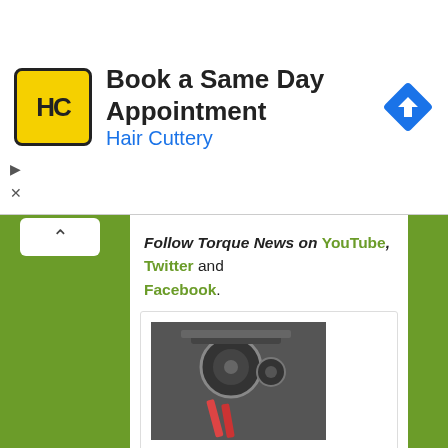[Figure (screenshot): Hair Cuttery advertisement banner with logo and 'Book a Same Day Appointment' text]
Follow Torque News on YouTube, Twitter and Facebook.
[Figure (photo): Close-up photo of car engine components with orange tools]
Will Skipping an Oil Change Void Your Vehicle Warranty?
[Figure (photo): Top-down view of a car doing donuts on a track]
Dodge Opens Chief Donut Maker Contest - $150,000 Salary and Use of Free Hellcat